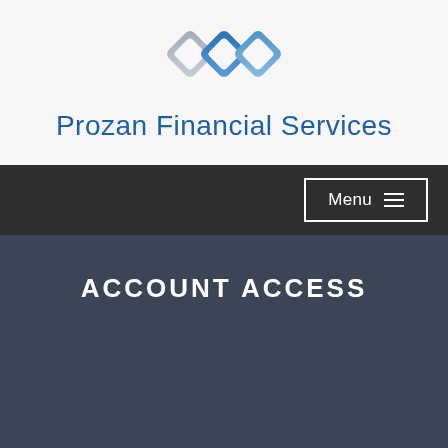[Figure (logo): Prozan Financial Services logo with interlocking diamond/rhombus chain shapes in blue and grey tones]
Prozan Financial Services
[Figure (other): Navigation bar with Menu button and hamburger icon on dark background]
ACCOUNT ACCESS